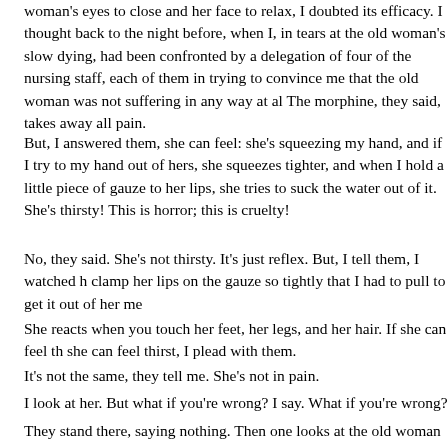woman's eyes to close and her face to relax, I doubted its efficacy. I thought back to the night before, when I, in tears at the old woman's slow dying, had been confronted by a delegation of four of the nursing staff, each of them in trying to convince me that the old woman was not suffering in any way at all. The morphine, they said, takes away all pain.
But, I answered them, she can feel: she's squeezing my hand, and if I try to my hand out of hers, she squeezes tighter, and when I hold a little piece of gauze to her lips, she tries to suck the water out of it. She's thirsty! This is horror; this is cruelty!
No, they said. She's not thirsty. It's just reflex. But, I tell them, I watched h clamp her lips on the gauze so tightly that I had to pull to get it out of her me
She reacts when you touch her feet, her legs, and her hair. If she can feel th she can feel thirst, I plead with them.
It's not the same, they tell me. She's not in pain.
I look at her. But what if you're wrong? I say. What if you're wrong?
They stand there, saying nothing. Then one looks at the old woman and sa we'd better turn her now. She and another care worker go about the busine repositioning the old woman, to keep her "comfortable" and the other two le